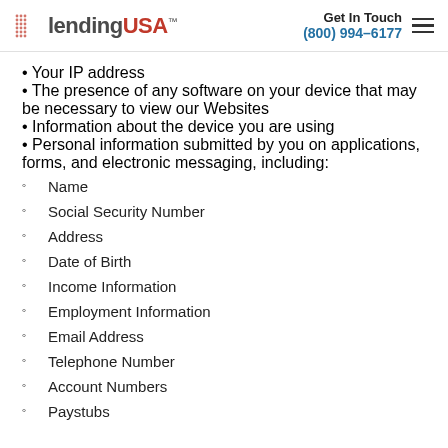lendingUSA | Get In Touch (800) 994-6177
Your IP address
The presence of any software on your device that may be necessary to view our Websites
Information about the device you are using
Personal information submitted by you on applications, forms, and electronic messaging, including: Name, Social Security Number, Address, Date of Birth, Income Information, Employment Information, Email Address, Telephone Number, Account Numbers, Paystubs